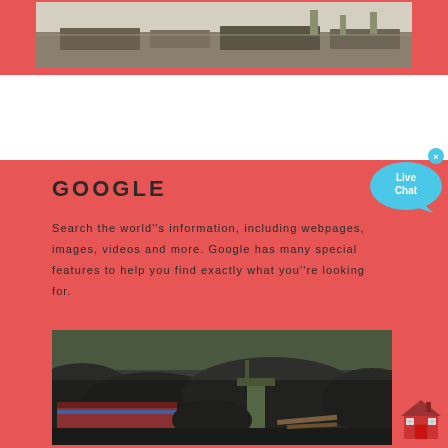[Figure (photo): Top portion of a photograph with pink/red background border, showing a railway or industrial scene (partially visible at top)]
GOOGLE
Search the world''s information, including webpages, images, videos and more. Google has many special features to help you find exactly what you''re looking for.
[Figure (photo): Photograph of a coal yard with large mounds of coal, railway freight cars/wagons, and industrial equipment in the background with trees]
[Figure (other): Live Chat speech bubble widget in cyan/blue color with 'Live Chat' text]
[Figure (other): House/barn icon in red color at bottom right corner]